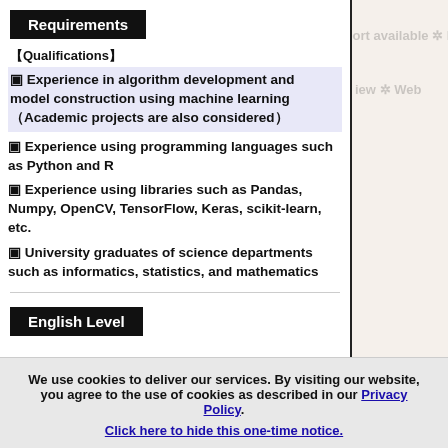Requirements
【Qualifications】
▣ Experience in algorithm development and model construction using machine learning（Academic projects are also considered）
▣ Experience using programming languages such as Python and R
▣ Experience using libraries such as Pandas, Numpy, OpenCV, TensorFlow, Keras, scikit-learn, etc.
▣ University graduates of science departments such as informatics, statistics, and mathematics
English Level
We use cookies to deliver our services. By visiting our website, you agree to the use of cookies as described in our Privacy Policy.
Click here to hide this one-time notice.